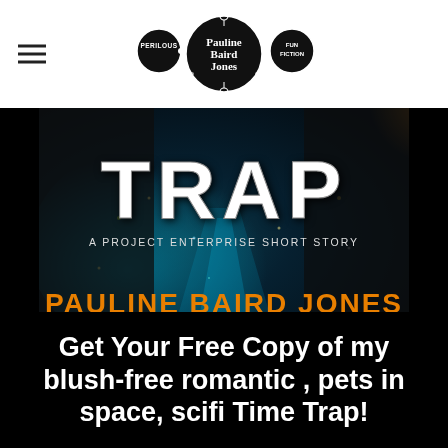Pauline Baird Jones — Perilous Fun Fiction (logo)
[Figure (photo): Book cover for 'Trap: A Project Enterprise Short Story' by Pauline Baird Jones. Dark sci-fi themed cover with glowing space background, two figures in black jackets, large white distressed text 'TRAP', subtitle 'A PROJECT ENTERPRISE SHORT STORY' in white, and author name 'PAULINE BAIRD JONES' in large orange text at the bottom.]
Get Your Free Copy of my blush-free romantic , pets in space, scifi Time Trap!